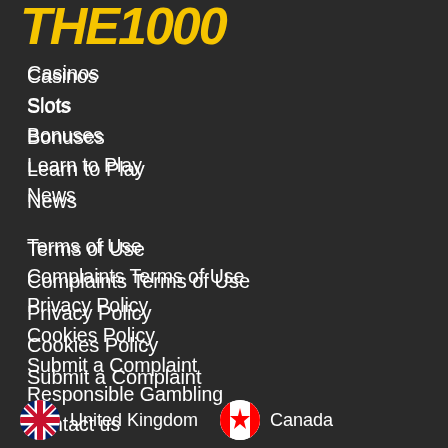THE1000
Casinos
Slots
Bonuses
Learn to Play
News
Terms of Use
Complaints Terms of Use
Privacy Policy
Cookies Policy
Submit a Complaint
Responsible Gambling
Contact us
[Figure (illustration): United Kingdom flag icon and Canada flag icon with country labels]